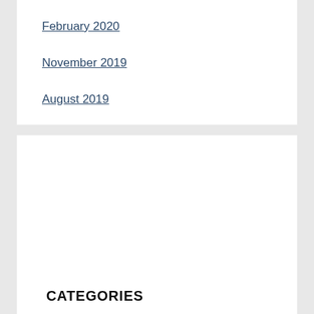February 2020
November 2019
August 2019
CATEGORIES
Confession
COVID-19
How To Pray
Kairos Moment
Messianic Moment